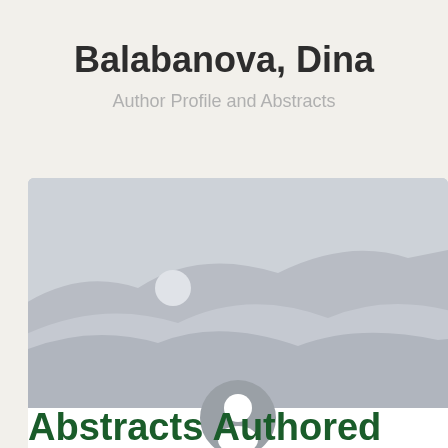Balabanova, Dina
Author Profile and Abstracts
[Figure (photo): Placeholder banner image with mountain/landscape silhouette in light gray]
[Figure (illustration): Generic user avatar icon in gray circle]
Abstracts Authored